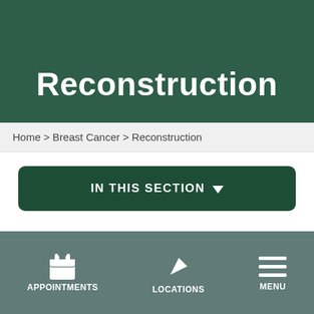Reconstruction
Home > Breast Cancer > Reconstruction
IN THIS SECTION
Just as breast cancer treatment has become more individualized, so have the ways to make you feel more comfortable with your body once
APPOINTMENTS   LOCATIONS   MENU